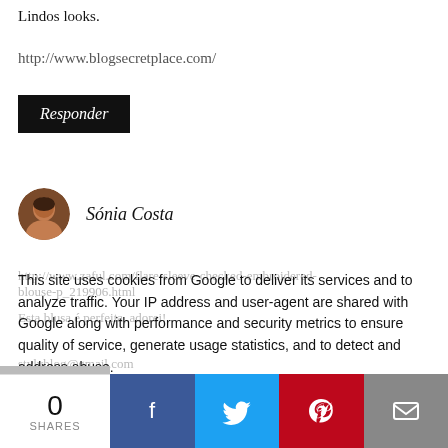Lindos looks.
http://www.blogsecretplace.com/
Responder
Sónia Costa
http://www.zaful.com/flare-sleeve-checked-embroidered-blouse-p_219906.html
Esta blusa é perfeita, adorei!
Esta blusa é perfeita, adorei! stylyblog@gmail.com
This site uses cookies from Google to deliver its services and to analyze traffic. Your IP address and user-agent are shared with Google along with performance and security metrics to ensure quality of service, generate usage statistics, and to detect and address abuse.